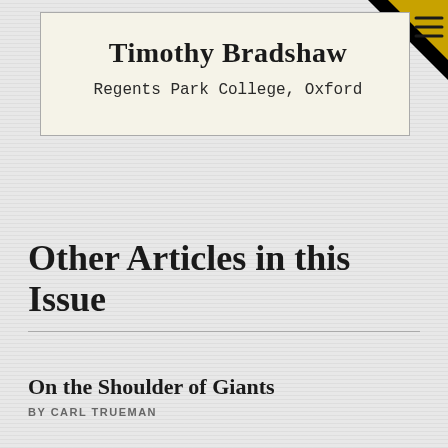Timothy Bradshaw
Regents Park College, Oxford
Other Articles in this Issue
On the Shoulder of Giants
BY CARL TRUEMAN